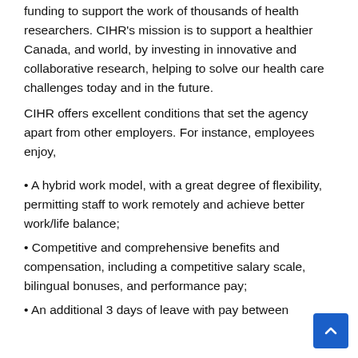funding to support the work of thousands of health researchers. CIHR's mission is to support a healthier Canada, and world, by investing in innovative and collaborative research, helping to solve our health care challenges today and in the future.
CIHR offers excellent conditions that set the agency apart from other employers. For instance, employees enjoy,
A hybrid work model, with a great degree of flexibility, permitting staff to work remotely and achieve better work/life balance;
Competitive and comprehensive benefits and compensation, including a competitive salary scale, bilingual bonuses, and performance pay;
An additional 3 days of leave with pay between